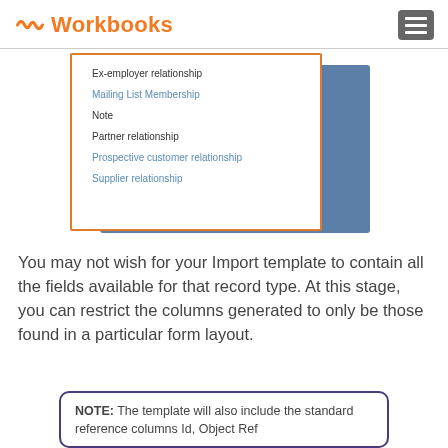Workbooks
[Figure (screenshot): Dropdown menu showing relationship and record type options: Ex-employer relationship, Mailing List Membership, Note, Partner relationship, Prospective customer relationship, Supplier relationship. White dropdown box with orange border overlapping a blue-gray background box.]
You may not wish for your Import template to contain all the fields available for that record type. At this stage, you can restrict the columns generated to only be those found in a particular form layout.
NOTE: The template will also include the standard reference columns Id, Object Ref